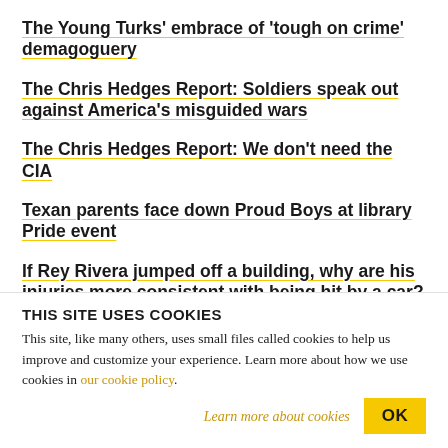The Young Turks' embrace of 'tough on crime' demagoguery
The Chris Hedges Report: Soldiers speak out against America's misguided wars
The Chris Hedges Report: We don't need the CIA
Texan parents face down Proud Boys at library Pride event
If Rey Rivera jumped off a building, why are his injuries more consistent with being hit by a car?
THIS SITE USES COOKIES
This site, like many others, uses small files called cookies to help us improve and customize your experience. Learn more about how we use cookies in our cookie policy.
Learn more about cookies
OK